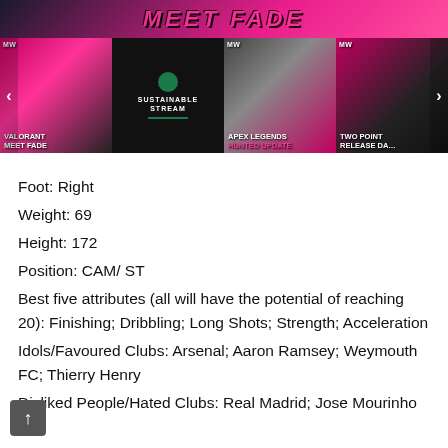[Figure (screenshot): Gaming website banner with 'MEET FADE' text in pink on dark background]
[Figure (screenshot): Row of gaming video thumbnails: Valorant Meet Fade, Sustainable Stream, Apex Legends Hunted, Two Point release date. Navigation arrows on left and right.]
Foot: Right
Weight: 69
Height: 172
Position: CAM/ ST
Best five attributes (all will have the potential of reaching 20): Finishing; Dribbling; Long Shots; Strength; Acceleration
Idols/Favoured Clubs: Arsenal; Aaron Ramsey; Weymouth FC; Thierry Henry
Disliked People/Hated Clubs: Real Madrid; Jose Mourinho